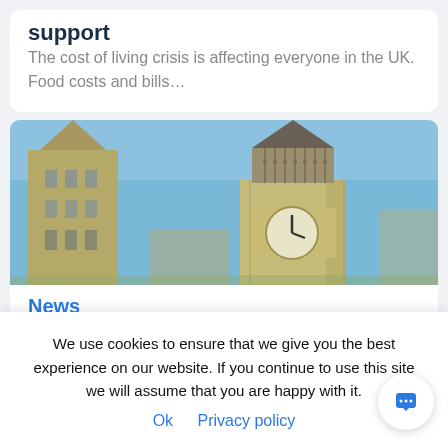support
The cost of living crisis is affecting everyone in the UK. Food costs and bills…
[Figure (photo): Photo of Big Ben and Houses of Parliament clock tower against a blue sky]
News
We use cookies to ensure that we give you the best experience on our website. If you continue to use this site we will assume that you are happy with it.
Ok   Privacy policy